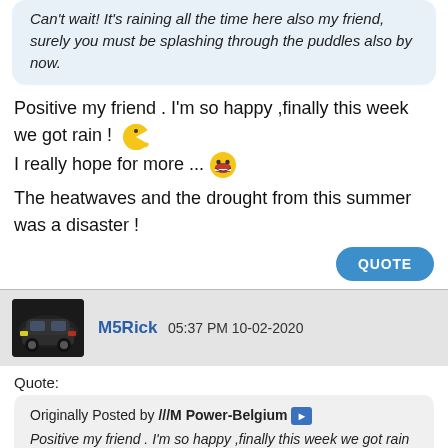Can't wait! It's raining all the time here also my friend, surely you must be splashing through the puddles also by now.
Positive my friend . I'm so happy ,finally this week we got rain ! [emoji] I really hope for more ...[emoji]
The heatwaves and the drought from this summer was a disaster !
QUOTE
M5Rick 05:37 PM 10-02-2020
Quote:
Originally Posted by ///M Power-Belgium [arrow] Positive my friend . I'm so happy ,finally this week we got rain ! [emoji]